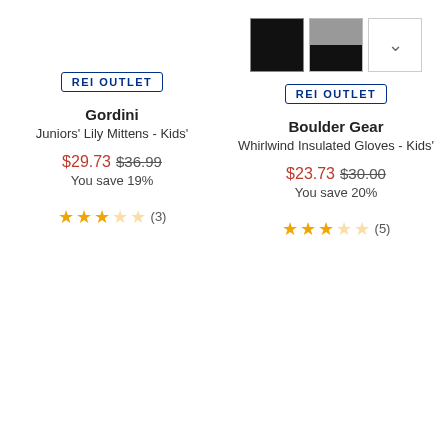[Figure (other): Color swatches for Boulder Gear product: black swatch, grey/black split swatch, and a dropdown chevron button]
REI OUTLET
REI OUTLET
Gordini
Juniors' Lily Mittens - Kids'
Boulder Gear
Whirlwind Insulated Gloves - Kids'
$29.73 $36.99
You save 19%
$23.73 $30.00
You save 20%
(3)
(5)